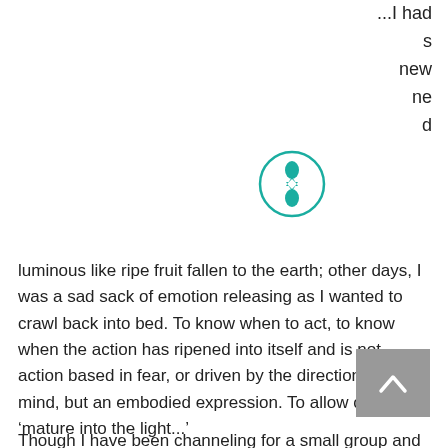...I had
s
new
ne
d
[Figure (logo): Teal circular logo with a stylized figure inside]
luminous like ripe fruit fallen to the earth; other days, I was a sad sack of emotion releasing as I wanted to crawl back into bed. To know when to act, to know when the action has ripened into itself and is not action based in fear, or driven by the direction of the mind, but an embodied expression. To allow oneself to ‘mature into the light...’
Though I have been channeling for a small group and offering intuitive energy sessions for almost two years now, I had yet to engage others in and with the